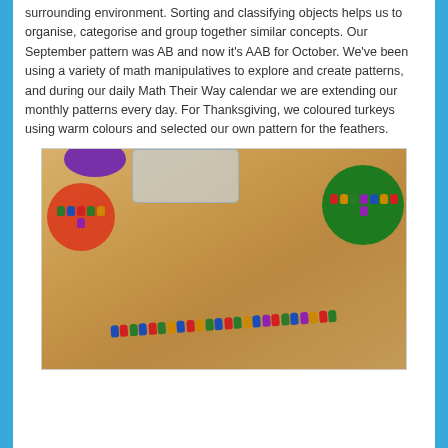surrounding environment.  Sorting and classifying objects helps us to organise, categorise and group together similar concepts.  Our September pattern was AB and now it's AAB for October.  We've been using a variety of math manipulatives to explore and create patterns, and during our daily Math Their Way calendar we are extending our monthly patterns every day.  For Thanksgiving, we coloured turkeys using warm colours and selected our own pattern for the feathers.
[Figure (photo): Photo of a wooden table surface with colorful math manipulative bears arranged in a curved row pattern. An orange bowl with green bears is on the left, a purple bowl at the top, a clear plastic container in the middle-top, and a green bowl with multicolored bears on the right. The bears in the row form a repeating AAB color pattern.]